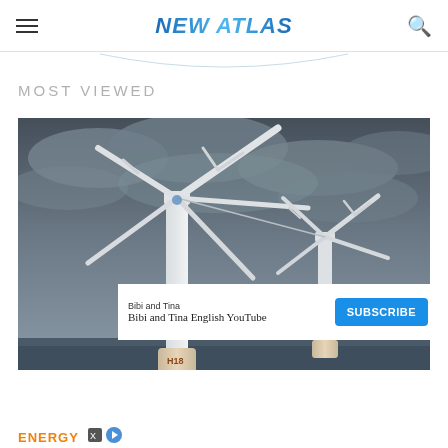NEW ATLAS
MOST VIEWED
[Figure (photo): Offshore wind turbines with multiple blades photographed against a dramatic stormy grey sky, with turbine bases partially visible in rough seas. Two turbines are visible, the foreground one has label H18.]
Bibi and Tina
Bibi and Tina English YouTube
SUBSCRIBE
ENERGY